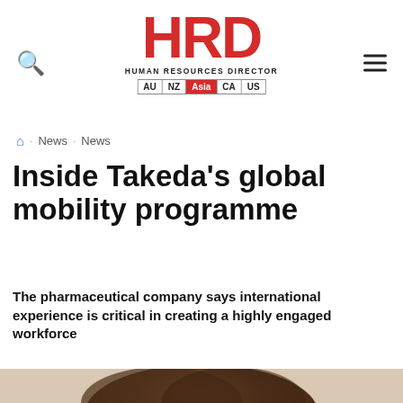HRD HUMAN RESOURCES DIRECTOR AU NZ Asia CA US
News · News
Inside Takeda's global mobility programme
The pharmaceutical company says international experience is critical in creating a highly engaged workforce
[Figure (photo): Top of a person's head with dark curly hair, photographed from above against a light background]